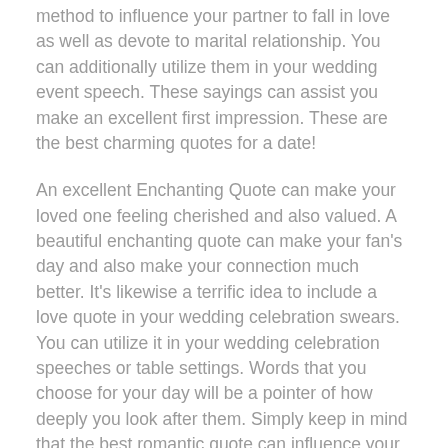method to influence your partner to fall in love as well as devote to marital relationship. You can additionally utilize them in your wedding event speech. These sayings can assist you make an excellent first impression. These are the best charming quotes for a date!
An excellent Enchanting Quote can make your loved one feeling cherished and also valued. A beautiful enchanting quote can make your fan's day and also make your connection much better. It's likewise a terrific idea to include a love quote in your wedding celebration swears. You can utilize it in your wedding celebration speeches or table settings. Words that you choose for your day will be a pointer of how deeply you look after them. Simply keep in mind that the best romantic quote can influence your partner in every means.
Whether you are in love with your companion or simply intend to make your date extra romantic, a romantic quote can do marvels for your relationship